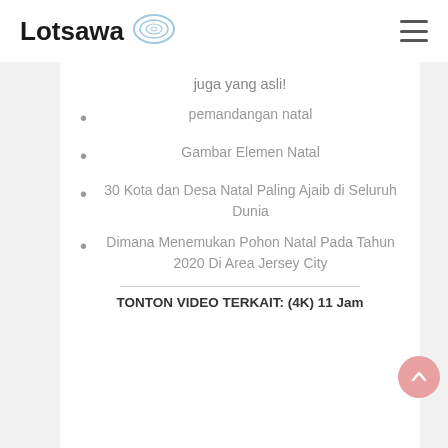Lotsawa
juga yang asli!
pemandangan natal
Gambar Elemen Natal
30 Kota dan Desa Natal Paling Ajaib di Seluruh Dunia
Dimana Menemukan Pohon Natal Pada Tahun 2020 Di Area Jersey City
TONTON VIDEO TERKAIT: (4K) 11 Jam